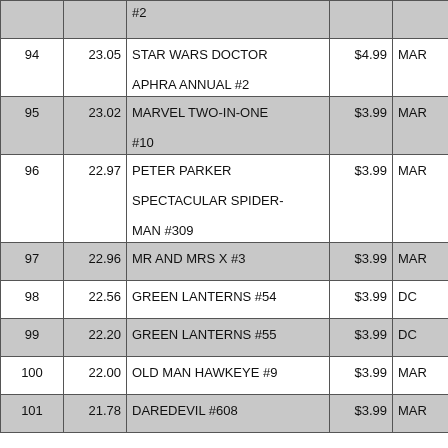| Rank | % | Title | Price | Pub | Units |
| --- | --- | --- | --- | --- | --- |
|  |  | #2 |  |  | 24,476 |
| 94 | 23.05 | STAR WARS DOCTOR APHRA ANNUAL #2 | $4.99 | MAR | 24,339 |
| 95 | 23.02 | MARVEL TWO-IN-ONE #10 | $3.99 | MAR | 24,311 |
| 96 | 22.97 | PETER PARKER SPECTACULAR SPIDER-MAN #309 | $3.99 | MAR | 24,261 |
| 97 | 22.96 | MR AND MRS X #3 | $3.99 | MAR | 24,250 |
| 98 | 22.56 | GREEN LANTERNS #54 | $3.99 | DC | 23,821 |
| 99 | 22.20 | GREEN LANTERNS #55 | $3.99 | DC | 23,444 |
| 100 | 22.00 | OLD MAN HAWKEYE #9 | $3.99 | MAR | 23,234 |
| 101 | 21.78 | DAREDEVIL #608 | $3.99 | MAR | 23,002 |